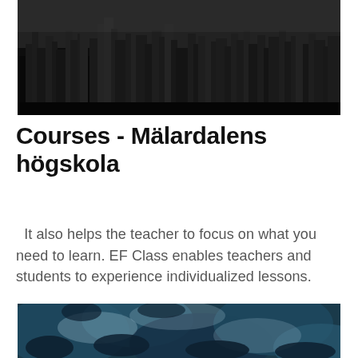[Figure (photo): Black and white aerial cityscape photo showing dense urban skyline with skyscrapers]
Courses - Mälardalens högskola
It also helps the teacher to focus on what you need to learn. EF Class enables teachers and students to experience individualized lessons.
[Figure (photo): Close-up photo of blue and white abstract fluid or flower texture]